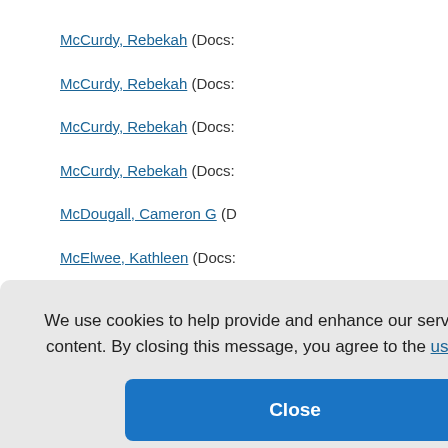McCurdy, Rebekah (Docs:
McCurdy, Rebekah (Docs:
McCurdy, Rebekah (Docs:
McCurdy, Rebekah (Docs:
McDougall, Cameron G (D
McElwee, Kathleen (Docs:
(Docs: 1)
Docs: 1)
(Docs: 1)
2 (Docs: 2)
We use cookies to help provide and enhance our service and tailor content. By closing this message, you agree to the use of cookies.